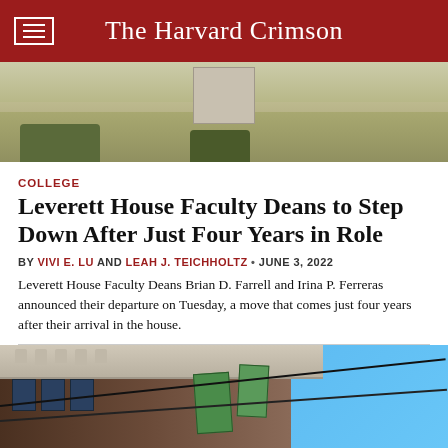The Harvard Crimson
[Figure (photo): Outdoor photo showing trimmed hedges and lawn area with building structure in background]
COLLEGE
Leverett House Faculty Deans to Step Down After Just Four Years in Role
BY VIVI E. LU AND LEAH J. TEICHHOLTZ • JUNE 3, 2022
Leverett House Faculty Deans Brian D. Farrell and Irina P. Ferreras announced their departure on Tuesday, a move that comes just four years after their arrival in the house.
[Figure (photo): Photo of a building exterior with ornate cornice, brick facade, green banners hanging from the building, blue sky in background]